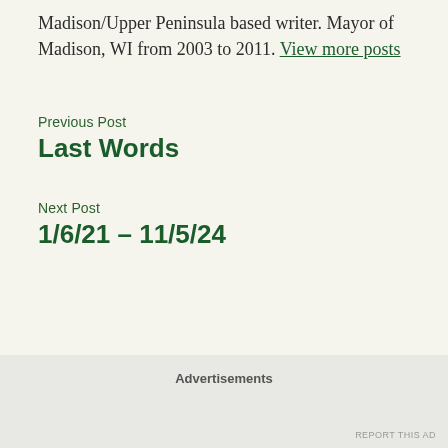Madison/Upper Peninsula based writer. Mayor of Madison, WI from 2003 to 2011. View more posts
Previous Post
Last Words
Next Post
1/6/21 – 11/5/24
Advertisements
REPORT THIS AD